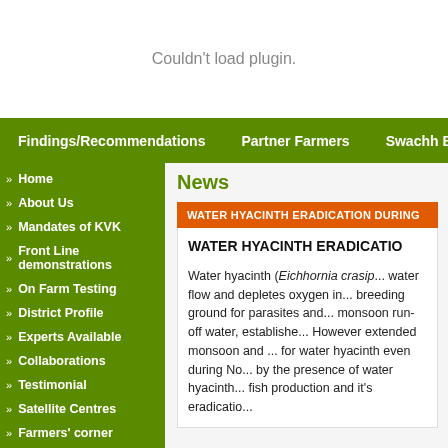Couldn't load plugin.
Findings/Recommendations   Partner Farmers   Swachh Bharat Abhiyan   S
Home
About Us
Mandates of KVK
Front Line demonstrations
On Farm Testing
District Profile
Experts Available
Collaborations
Testimonial
Satellite Centres
Farmers' corner
Staff
Trademark
Publications
News
WATER HYACINTH ERADICATION DURING
WATER HYACINTH ERADICATIO
Water hyacinth (Eichhornia crasip... water flow and depletes oxygen in... breeding ground for parasites and... monsoon run-off water, establishe... However extended monsoon and ... for water hyacinth even during No... by the presence of water hyacinth... fish production and it's eradicatio...